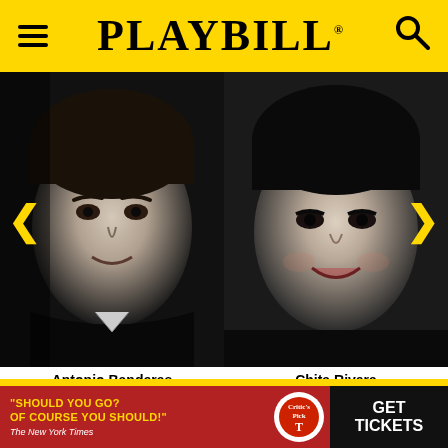PLAYBILL
[Figure (photo): Black and white portrait headshot of Antonio Banderas]
[Figure (photo): Black and white portrait headshot of Chita Rivera]
Antonio Banderas
Guido Contini
Chita Rivera
Liliane La Fleur
[Figure (infographic): Advertisement banner: 'SHOULD YOU GO? OF COURSE YOU SHOULD!' - The New York Times. Critic's Pick circle logo. GET TICKETS button.]